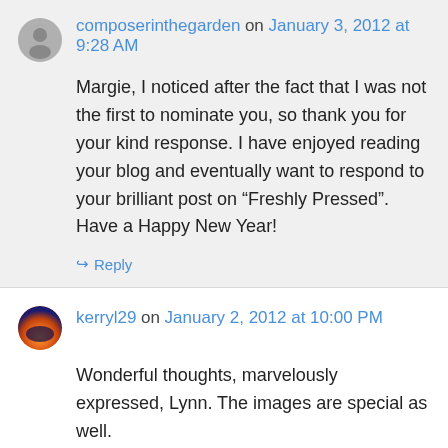composerinthegarden on January 3, 2012 at 9:28 AM
Margie, I noticed after the fact that I was not the first to nominate you, so thank you for your kind response. I have enjoyed reading your blog and eventually want to respond to your brilliant post on “Freshly Pressed”. Have a Happy New Year!
Reply
kerryl29 on January 2, 2012 at 10:00 PM
Wonderful thoughts, marvelously expressed, Lynn. The images are special as well.